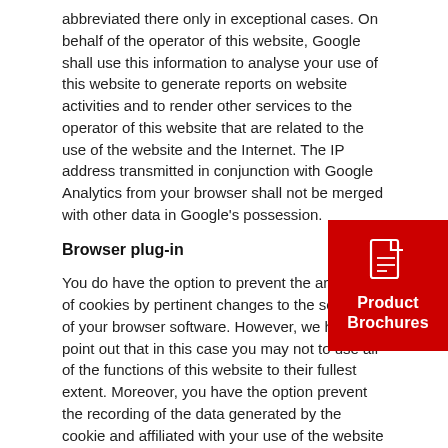abbreviated there only in exceptional cases. On behalf of the operator of this website, Google shall use this information to analyse your use of this website to generate reports on website activities and to render other services to the operator of this website that are related to the use of the website and the Internet. The IP address transmitted in conjunction with Google Analytics from your browser shall not be merged with other data in Google's possession.
Browser plug-in
You do have the option to prevent the archiving of cookies by pertinent changes to the settings of your browser software. However, we have to point out that in this case you may not to use all of the functions of this website to their fullest extent. Moreover, you have the option prevent the recording of the data generated by the cookie and affiliated with your use of the website (including your IP address) by Google as well as the processing of this data by Google by downloading and installing the browser plug-in available under the following link: https://tools.google.com/dlpage/gaoptout?hl=en.
[Figure (other): Red badge/widget with document icon and text 'Product Brochures']
Objection to the recording of data
You have the option to prevent the recording of your data by Google